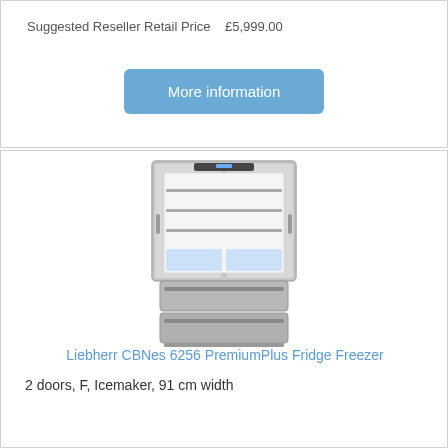Suggested Reseller Retail Price   £5,999.00
[Figure (other): Blue 'More information' button]
[Figure (photo): Liebherr CBNes 6256 PremiumPlus Fridge Freezer with doors open showing interior shelves and freezer drawers, stainless steel finish]
Liebherr CBNes 6256 PremiumPlus Fridge Freezer
2 doors, F, Icemaker, 91 cm width